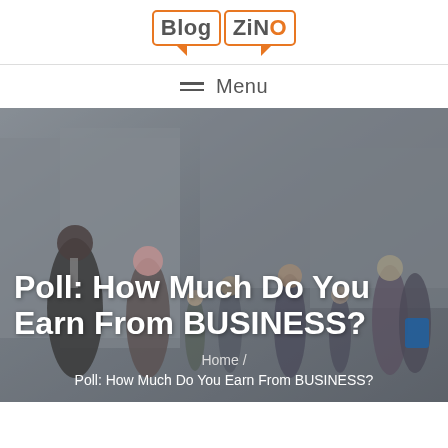[Figure (logo): BlogZiNO logo with two speech bubble outlines in orange, text 'Blog' and 'ZiNO' in gray and orange]
Menu
[Figure (photo): Background photo of business people walking in an urban setting, dark overlay]
Poll: How Much Do You Earn From BUSINESS?
Home /
Poll: How Much Do You Earn From BUSINESS?